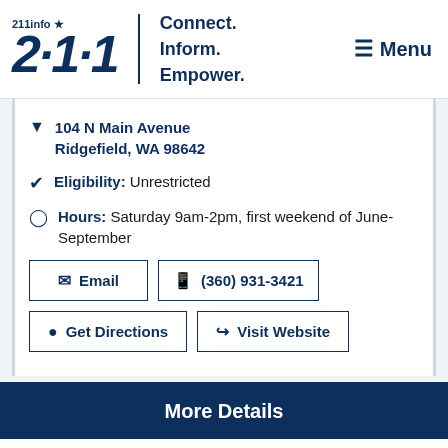[Figure (logo): 211info logo with star, tagline Connect. Inform. Empower., and Menu button]
104 N Main Avenue Ridgefield, WA 98642
Eligibility: Unrestricted
Hours: Saturday 9am-2pm, first weekend of June-September
Email | (360) 931-3421
Get Directions | Visit Website
More Details